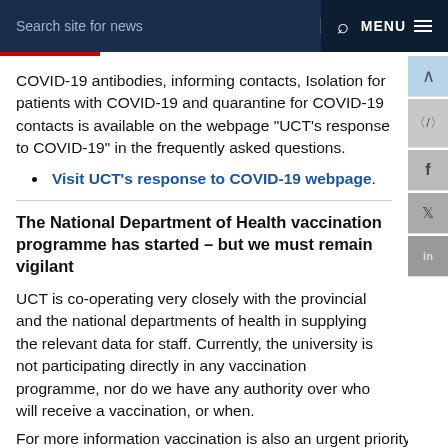Search site for news  MENU
COVID-19 antibodies, informing contacts, Isolation for patients with COVID-19 and quarantine for COVID-19 contacts is available on the webpage “UCT’s response to COVID-19” in the frequently asked questions.
Visit UCT’s response to COVID-19 webpage.
The National Department of Health vaccination programme has started – but we must remain vigilant
UCT is co-operating very closely with the provincial and the national departments of health in supplying the relevant data for staff. Currently, the university is not participating directly in any vaccination programme, nor do we have any authority over who will receive a vaccination, or when.
For more information vaccination is also an urgent priority...